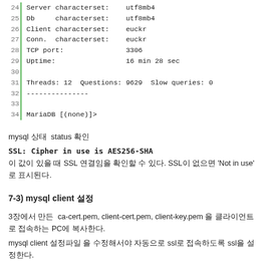[Figure (screenshot): Code block showing MariaDB status output with line numbers 24-34 and a green vertical bar. Lines show Server/Db/Client/Conn charsets, TCP port, Uptime, Threads/Questions/Slow queries, dashes, and MariaDB prompt.]
mysql 상태  status 확인
SSL: Cipher in use is AES256-SHA
이 값이 있을 때 SSL 연결임을 확인할 수 있다. SSL이 없으면 'Not in use' 로 표시된다.
7-3) mysql client 설정
3장에서 만든  ca-cert.pem, client-cert.pem, client-key.pem 을 클라이언트로 접속하는 PC에 복사한다.
mysql client 설정파일 을 수정해서야 자동으로 ssl로 접속하도록 ssl을 설정한다.
윈도우즈 PC의 설정파일 위치
C:\Program Files\MariaDB 10.5\data\my.ini